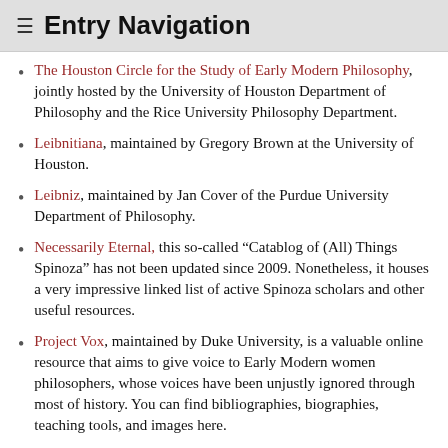≡ Entry Navigation
The Houston Circle for the Study of Early Modern Philosophy, jointly hosted by the University of Houston Department of Philosophy and the Rice University Philosophy Department.
Leibnitiana, maintained by Gregory Brown at the University of Houston.
Leibniz, maintained by Jan Cover of the Purdue University Department of Philosophy.
Necessarily Eternal, this so-called “Catablog of (All) Things Spinoza” has not been updated since 2009. Nonetheless, it houses a very impressive linked list of active Spinoza scholars and other useful resources.
Project Vox, maintained by Duke University, is a valuable online resource that aims to give voice to Early Modern women philosophers, whose voices have been unjustly ignored through most of history. You can find bibliographies, biographies, teaching tools, and images here.